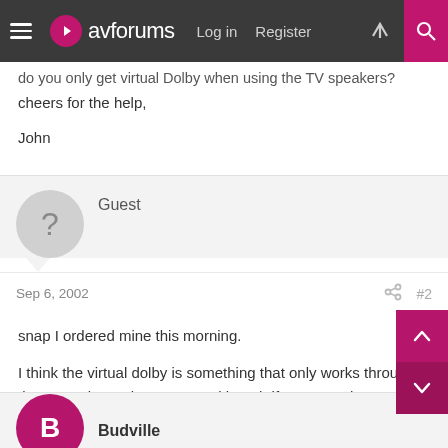avforums — Log in | Register
do you only get virtual Dolby when using the TV speakers?
cheers for the help,

John
Guest
Sep 6, 2002  #2
snap I ordered mine this morning.

I think the virtual dolby is something that only works through the TV and can't be output... although if your amp has Pro-logic 2 and DD that shouldn't really matter. that's only a guess though as I haven't seen mine yet.
Budville